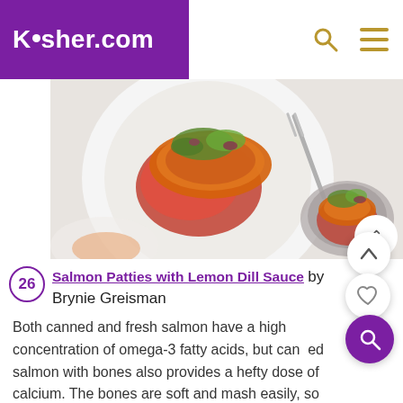Kosher.com
[Figure (photo): Overhead food photo showing a white plate with a salmon/fish patty topped with red tomato sauce and fresh cilantro, with a fork, alongside a small gray bowl with similar dish, on a white textured surface.]
26 Salmon Patties with Lemon Dill Sauce by Brynie Greisman
Both canned and fresh salmon have a high concentration of omega-3 fatty acids, but canned salmon with bones also provides a hefty dose of calcium. The bones are soft and mash easily, so don't leave them out. Just don't tell anyone